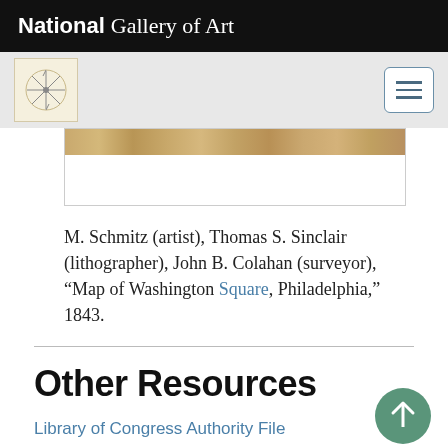National Gallery of Art
[Figure (screenshot): Navigation bar with NGA logo thumbnail and hamburger menu button]
[Figure (photo): Partial artwork thumbnail showing a decorative strip, cropped]
M. Schmitz (artist), Thomas S. Sinclair (lithographer), John B. Colahan (surveyor), "Map of Washington Square, Philadelphia," 1843.
Other Resources
Library of Congress Authority File